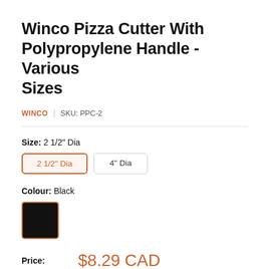Winco Pizza Cutter With Polypropylene Handle - Various Sizes
WINCO | SKU: PPC-2
Size: 2 1/2" Dia
2 1/2" Dia
4" Dia
Colour: Black
Price: $8.29 CAD